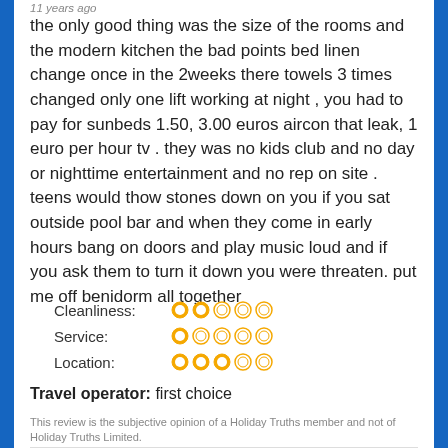11 years ago
the only good thing was the size of the rooms and the modern kitchen the bad points bed linen change once in the 2weeks there towels 3 times changed only one lift working at night , you had to pay for sunbeds 1.50, 3.00 euros aircon that leak, 1 euro per hour tv . they was no kids club and no day or nighttime entertainment and no rep on site . teens would thow stones down on you if you sat outside pool bar and when they come in early hours bang on doors and play music loud and if you ask them to turn it down you were threaten. put me off benidorm all together
Cleanliness: 2/5 Service: 1/5 Location: 3/5
Travel operator: first choice
This review is the subjective opinion of a Holiday Truths member and not of Holiday Truths Limited.